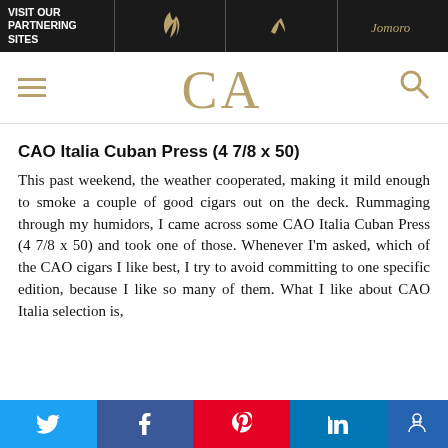VISIT OUR PARTNERING SITES
[Figure (logo): CA logo with hamburger menu and search icon navigation header]
CAO Italia Cuban Press (4 7/8 x 50)
This past weekend, the weather cooperated, making it mild enough to smoke a couple of good cigars out on the deck. Rummaging through my humidors, I came across some CAO Italia Cuban Press (4 7/8 x 50) and took one of those. Whenever I'm asked, which of the CAO cigars I like best, I try to avoid committing to one specific edition, because I like so many of them. What I like about CAO Italia selection is,
Twitter Facebook Pinterest LinkedIn Accessibility